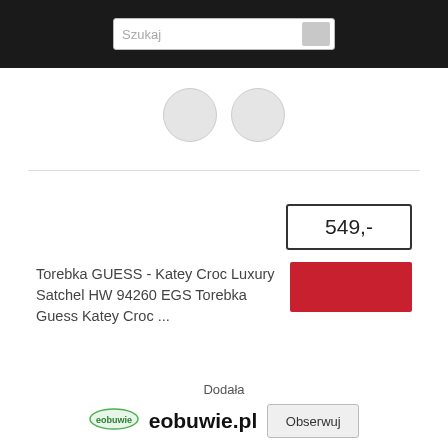Szukaj
[Figure (screenshot): Two navigation circles/avatar placeholders]
549,-
Torebka GUESS - Katey Croc Luxury Satchel HW 94260 EGS Torebka Guess Katey Croc ...
Dodała
[Figure (logo): eobuwie.pl logo]
eobuwie.pl
Obserwuj
Źródło:  eobuwie.pl